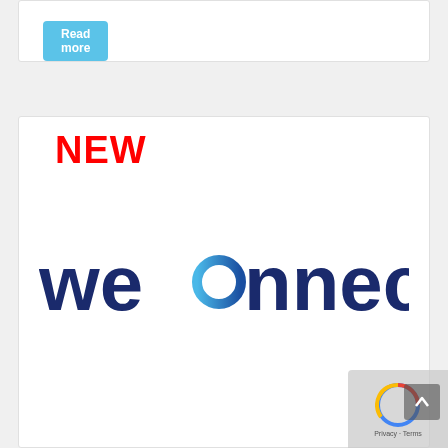Read more
NEW
[Figure (logo): weconnect logo — 'we' in dark navy, stylized infinity/circle symbol in blue gradient, 'nnect' in dark navy]